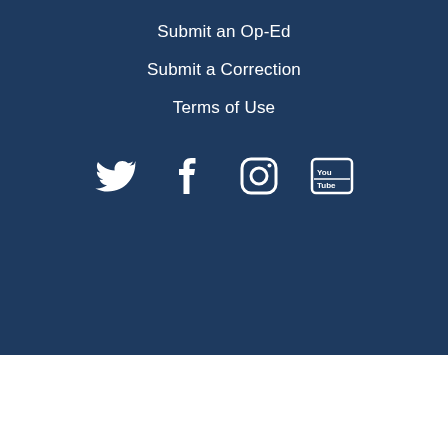Submit an Op-Ed
Submit a Correction
Terms of Use
[Figure (illustration): Social media icons: Twitter bird, Facebook f, Instagram camera, YouTube play button]